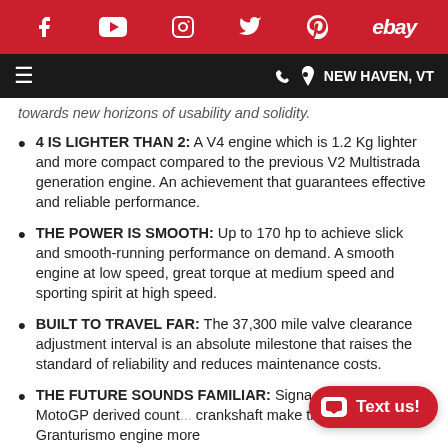f [YouTube] [Instagram] [Twitter] [Pinterest] ebay | NEW HAVEN, VT
towards new horizons of usability and solidity.
4 IS LIGHTER THAN 2: A V4 engine which is 1.2 Kg lighter and more compact compared to the previous V2 Multistrada generation engine. An achievement that guarantees effective and reliable performance.
THE POWER IS SMOOTH: Up to 170 hp to achieve slick and smooth-running performance on demand. A smooth engine at low speed, great torque at medium speed and sporting spirit at high speed.
BUILT TO TRAVEL FAR: The 37,300 mile valve clearance adjustment interval is an absolute milestone that raises the standard of reliability and reduces maintenance costs.
THE FUTURE SOUNDS FAMILIAR: Signa... firing order and MotoGP derived counter crankshaft make the new V4 Granturismo engine more Ducati than ever.